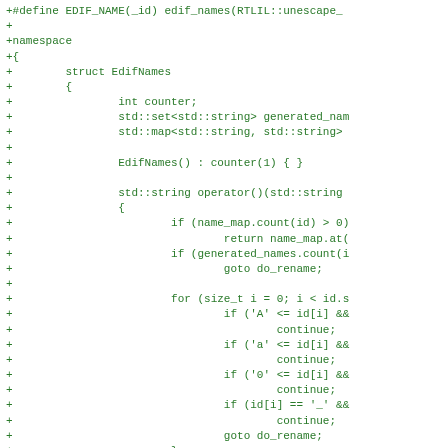[Figure (screenshot): Code diff snippet showing C++ code additions (prefixed with +) in green. Defines EDIF_NAME macro and a namespace with an EdifNames struct containing counter, generated_names set, name_map, constructor, and operator() with identifier validation logic.]